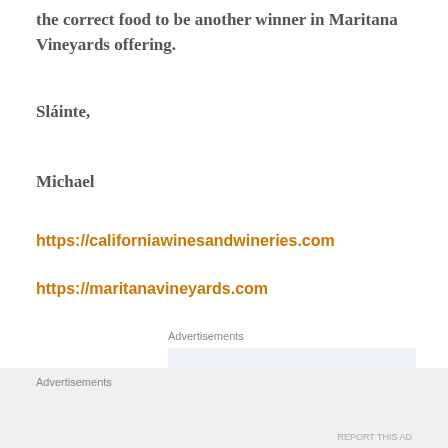the correct food to be another winner in Maritana Vineyards offering.
Sláinte,
Michael
https://californiawinesandwineries.com
https://maritanavineyards.com
Advertisements
[Figure (other): Advertisement banner reading 'Build a writing habit. Post on']
Advertisements